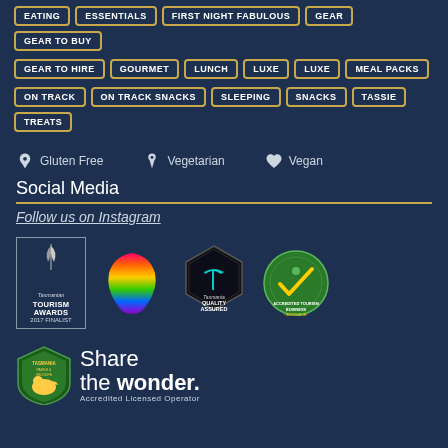EATING | ESSENTIALS | FIRST NIGHT FABULOUS | GEAR | GEAR TO BUY
GEAR TO HIRE | GOURMET | LUNCH | LUXE | LUXE | MEAL PACKS
ON TRACK | ON TRACK SNACKS | SLEEPING | SNACKS | TASSIE | TREATS
🌾 Gluten Free   🌿 Vegetarian   💚 Vegan
Social Media
Follow us on Instagram
[Figure (logo): Tasmanian Tourism Awards 2017 Finalist badge, rectangular bordered logo with feather illustration]
[Figure (logo): Rainbow Tasmania logo with rainbow-colored Tasmania map silhouette]
[Figure (logo): Tasmania Quality Assured hexagonal badge, dark background with teal T mark]
[Figure (logo): Accredited Tourism Business Australia circular green badge with kangaroo and check]
[Figure (logo): Share the Wonder - Tasmania Parks and Wildlife Service Accredited Licensed Operator logo]